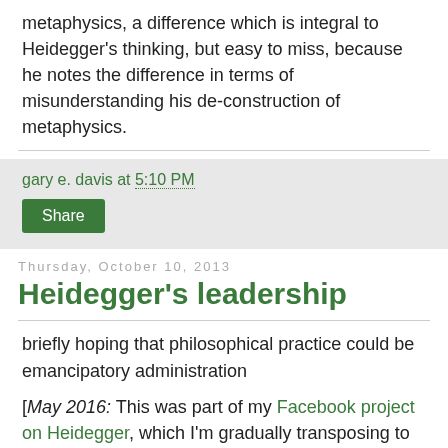metaphysics, a difference which is integral to Heidegger's thinking, but easy to miss, because he notes the difference in terms of misunderstanding his de-construction of metaphysics.
gary e. davis at 5:10 PM
Share
Thursday, October 10, 2013
Heidegger's leadership
briefly hoping that philosophical practice could be emancipatory administration
[May 2016: This was part of my Facebook project on Heidegger, which I'm gradually transposing to this blog. It was intended for persons not very familiar with Heidegger who may be steered away by hermeneutical gossip.]